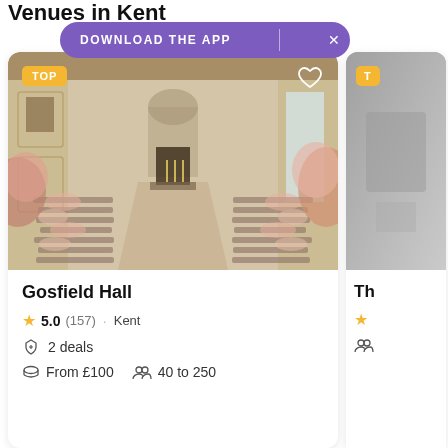Venues in Kent
DOWNLOAD THE APP  ×
[Figure (photo): Interior of Gosfield Hall wedding venue showing a grand ceremony room with rows of chairs decorated with blush drapery, a central aisle, fireplace, tall windows, and floral arrangements.]
Gosfield Hall
5.0 (157) · Kent
2 deals
From £100  40 to 250
[Figure (photo): Partial view of a second wedding venue card (cropped), showing a monochrome photo and partial text starting with 'Th'.]